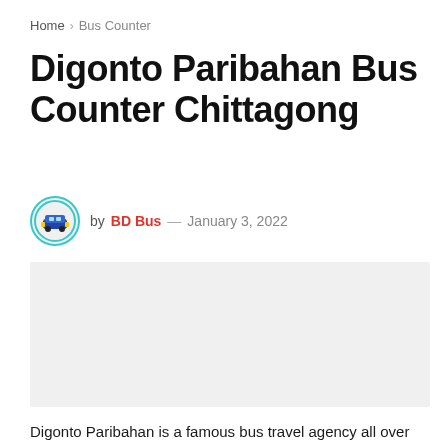Home > Bus Counter
Digonto Paribahan Bus Counter Chittagong
by BD Bus — January 3, 2022
[Figure (photo): Featured image placeholder for Digonto Paribahan Bus Counter Chittagong article]
Digonto Paribahan is a famous bus travel agency all over